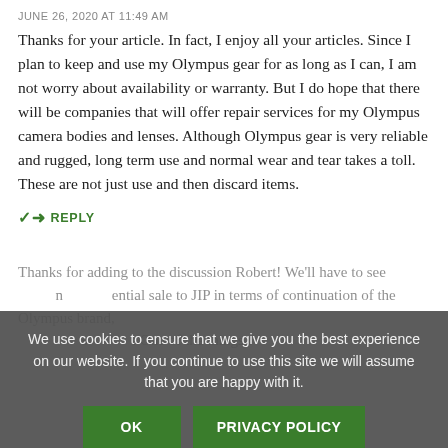JUNE 26, 2020 AT 11:49 AM
Thanks for your article. In fact, I enjoy all your articles. Since I plan to keep and use my Olympus gear for as long as I can, I am not worry about availability or warranty. But I do hope that there will be companies that will offer repair services for my Olympus camera bodies and lenses. Although Olympus gear is very reliable and rugged, long term use and normal wear and tear takes a toll. These are not just use and then discard items.
↳ REPLY
We use cookies to ensure that we give you the best experience on our website. If you continue to use this site we will assume that you are happy with it.
OK
PRIVACY POLICY
Thanks for adding to the discussion Robert! We'll have to see … ential sale to JIP in terms of continuation of the Olympus brand,